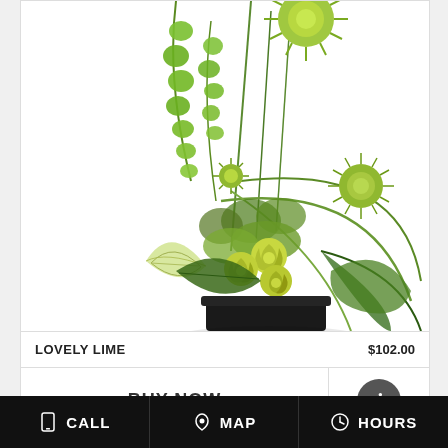[Figure (photo): A lime green floral arrangement called Lovely Lime featuring green chrysanthemums, green roses, bells of Ireland, tropical leaves, and green fillers in a black rectangular vase.]
LOVELY LIME    $102.00
BUY NOW
[Figure (other): Info button - circular dark grey icon with white letter i]
[Figure (infographic): Bottom navigation bar with CALL, MAP, and HOURS buttons on black background]
CALL
MAP
HOURS